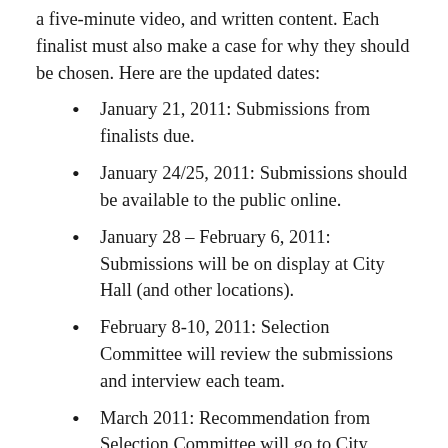a five-minute video, and written content. Each finalist must also make a case for why they should be chosen. Here are the updated dates:
January 21, 2011: Submissions from finalists due.
January 24/25, 2011: Submissions should be available to the public online.
January 28 – February 6, 2011: Submissions will be on display at City Hall (and other locations).
February 8-10, 2011: Selection Committee will review the submissions and interview each team.
March 2011: Recommendation from Selection Committee will go to City Council.
April/May 2011: Winning submission selected and contract negotiations begin.